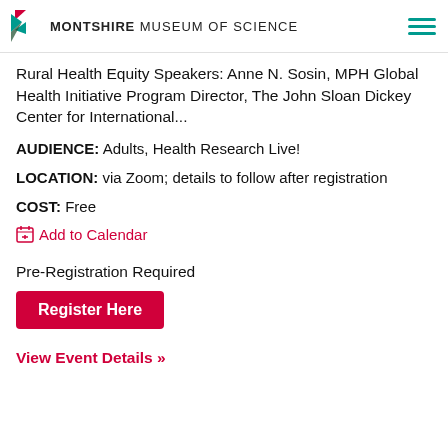MONTSHIRE MUSEUM OF SCIENCE
Rural Health Equity Speakers: Anne N. Sosin, MPH Global Health Initiative Program Director, The John Sloan Dickey Center for International...
AUDIENCE: Adults, Health Research Live!
LOCATION: via Zoom; details to follow after registration
COST: Free
Add to Calendar
Pre-Registration Required
Register Here
View Event Details »